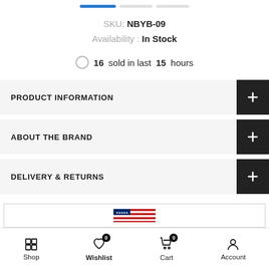SKU: NBYB-09
Availability : In Stock
16 sold in last 15 hours
PRODUCT INFORMATION
ABOUT THE BRAND
DELIVERY & RETURNS
[Figure (other): US flag inside a bordered box at the bottom of the page]
Shop  Wishlist 0  Cart 0  Account